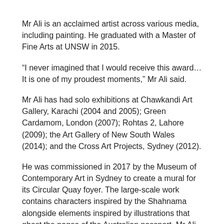Mr Ali is an acclaimed artist across various media, including painting. He graduated with a Master of Fine Arts at UNSW in 2015.
“I never imagined that I would receive this award… It is one of my proudest moments,” Mr Ali said.
Mr Ali has had solo exhibitions at Chawkandi Art Gallery, Karachi (2004 and 2005); Green Cardamom, London (2007); Rohtas 2, Lahore (2009); the Art Gallery of New South Wales (2014); and the Cross Art Projects, Sydney (2012).
He was commissioned in 2017 by the Museum of Contemporary Art in Sydney to create a mural for its Circular Quay foyer. The large-scale work contains characters inspired by the Shahnama alongside elements inspired by illustrations that ghost the pages of the Australian passport. Mr Ali received his Australian passport in 2015, five years after he relocated to the country.
Mr Ali has a studio in Kabul, Afghanistan, where he works with teams of traditional carpet weavers – often teaching them new